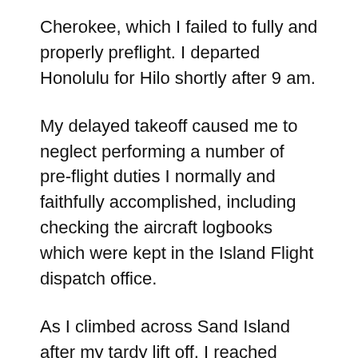Cherokee, which I failed to fully and properly preflight. I departed Honolulu for Hilo shortly after 9 am.
My delayed takeoff caused me to neglect performing a number of pre-flight duties I normally and faithfully accomplished, including checking the aircraft logbooks which were kept in the Island Flight dispatch office.
As I climbed across Sand Island after my tardy lift off, I reached under the aircraft seat for a life-preserver, and found there was none. I loosened my seatbelt to look in the